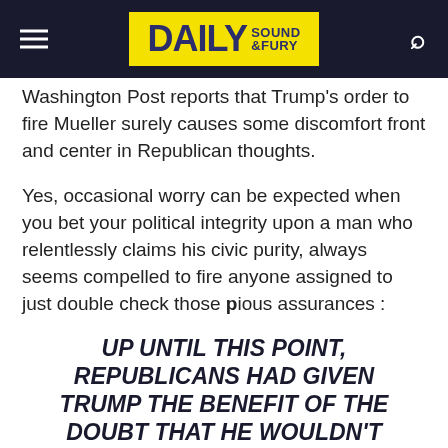Daily Sound & Fury
Washington Post reports that Trump's order to fire Mueller surely causes some discomfort front and center in Republican thoughts.
Yes, occasional worry can be expected when you bet your political integrity upon a man who relentlessly claims his civic purity, always seems compelled to fire anyone assigned to just double check those pious assurances :
UP UNTIL THIS POINT, REPUBLICANS HAD GIVEN TRUMP THE BENEFIT OF THE DOUBT THAT HE WOULDN'T LAUNCH A CONSTITUTIONAL CRISIS. FROM THEIR PERSPECTIVE, WHY TAKE